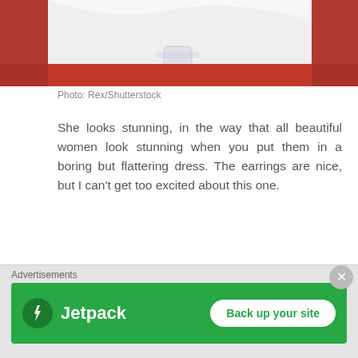[Figure (photo): Top portion of a photo showing the bottom of a white dress and clear heeled sandals on a red carpet background]
Photo: Rex/Shutterstock
She looks stunning, in the way that all beautiful women look stunning when you put them in a boring but flattering dress. The earrings are nice, but I can’t get too excited about this one.
TOM HIDDLESTON
[Figure (photo): Photo of Tom Hiddleston at the Emmy Awards, with an Emmy trophy visible on the left and an ABC logo on the right, against a dark background]
[Figure (screenshot): Advertisement banner for Jetpack plugin with green background, Jetpack logo, and 'Back up your site' button]